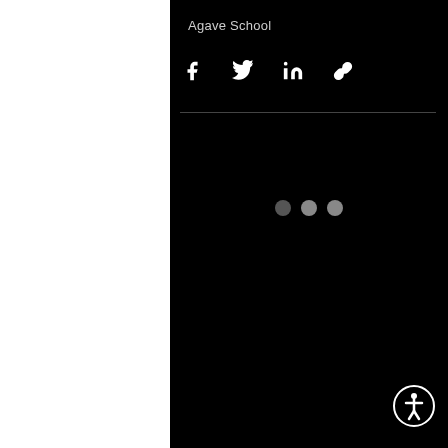Agave School
[Figure (screenshot): Social sharing icons: Facebook (f), Twitter bird, LinkedIn (in), and link/chain icon — white icons on black background]
[Figure (infographic): Loading indicator with three dots (one dim, two gray) centered on black background]
[Figure (illustration): Accessibility icon (person in circle) in bottom right corner]